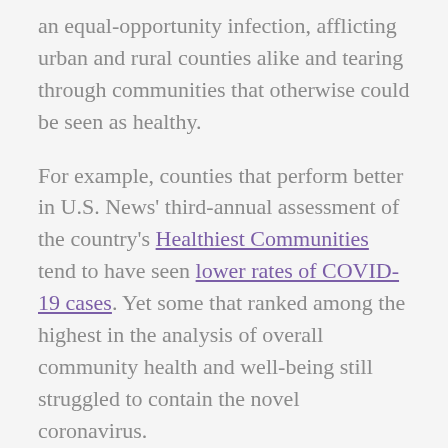an equal-opportunity infection, afflicting urban and rural counties alike and tearing through communities that otherwise could be seen as healthy.
For example, counties that perform better in U.S. News' third-annual assessment of the country's Healthiest Communities tend to have seen lower rates of COVID-19 cases. Yet some that ranked among the highest in the analysis of overall community health and well-being still struggled to contain the novel coronavirus.
Ultimately, the impact of the novel coronavirus hinges not just on demographics and factors